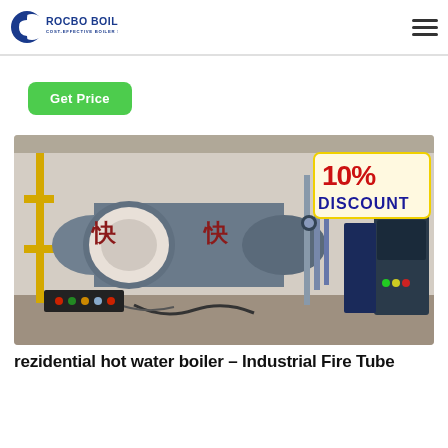ROCBO BOILER - COST-EFFECTIVE BOILER SUPPLIER
[Figure (logo): Rocbo Boiler logo with blue crescent and text 'ROCBO BOILER / COST-EFFECTIVE BOILER SUPPLIER']
Get Price
[Figure (photo): Industrial fire tube boiler in a factory setting with Chinese characters on the boiler body and a '10% DISCOUNT' promotional banner in the top right corner]
rezidential hot water boiler – Industrial Fire Tube